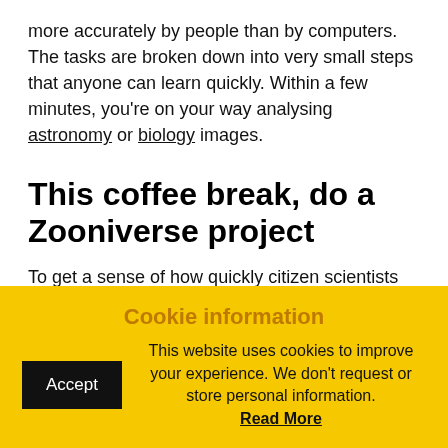more accurately by people than by computers. The tasks are broken down into very small steps that anyone can learn quickly. Within a few minutes, you're on your way analysing astronomy or biology images.
This coffee break, do a Zooniverse project
To get a sense of how quickly citizen scientists can get started analysing research data, choose one of the open projects on Zooniverse, and join in.
Have a look at the projects that were recently
Cookie information
This website uses cookies to improve your experience. We don't request or store personal information. Read More